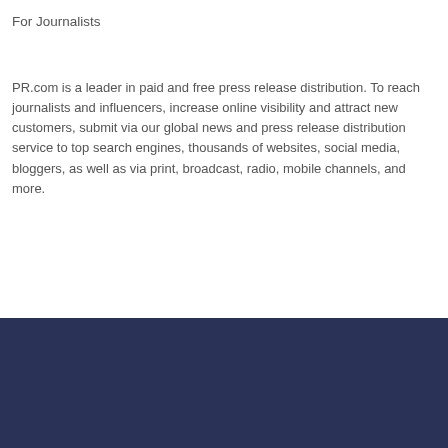For Journalists
PR.com is a leader in paid and free press release distribution. To reach journalists and influencers, increase online visibility and attract new customers, submit via our global news and press release distribution service to top search engines, thousands of websites, social media, bloggers, as well as via print, broadcast, radio, mobile channels, and more.
PR.com
Press Release Distribution